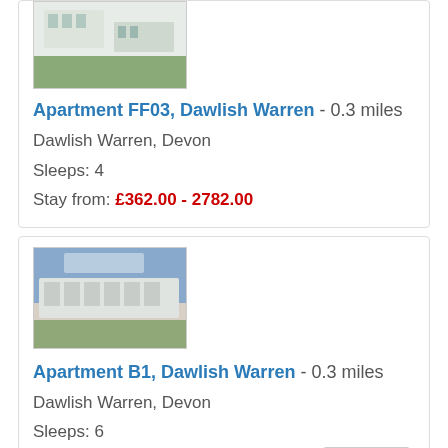[Figure (photo): Exterior photo of apartment building with white walls and green grass, picnic tables visible]
Apartment FF03, Dawlish Warren - 0.3 miles
Dawlish Warren, Devon
Sleeps: 4
Stay from: £362.00 - 2782.00
[Figure (photo): Exterior photo of a row of modern white apartments with blue sky and green lawn]
Apartment B1, Dawlish Warren - 0.3 miles
Dawlish Warren, Devon
Sleeps: 6
Stay from: £368.00 - 2782.00